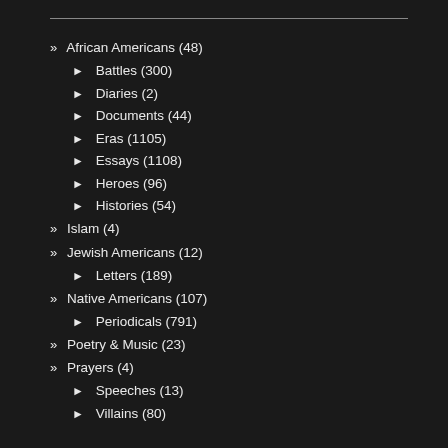» African Americans (48)
► Battles (300)
► Diaries (2)
► Documents (44)
► Eras (1105)
► Essays (1108)
► Heroes (96)
► Histories (54)
» Islam (4)
» Jewish Americans (12)
► Letters (189)
» Native Americans (107)
► Periodicals (791)
» Poetry & Music (23)
» Prayers (4)
► Speeches (13)
► Villains (80)